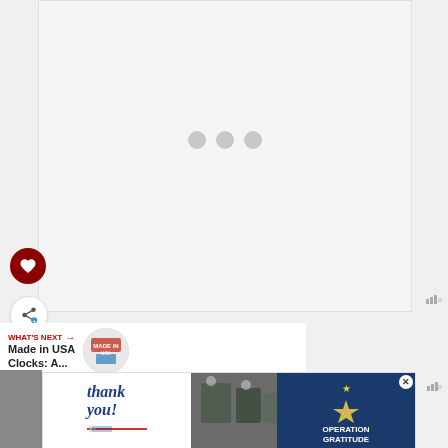[Figure (screenshot): Video player loading state with three gray dots centered on a light gray background panel]
[Figure (infographic): Heart (favorite) button - dark red circular button with white heart icon]
[Figure (infographic): Share button - white circular button with share/add icon]
WHAT'S NEXT → Made in USA Clocks: A...
[Figure (screenshot): Advertisement banner: Thank you with Operation Gratitude branding and military image]